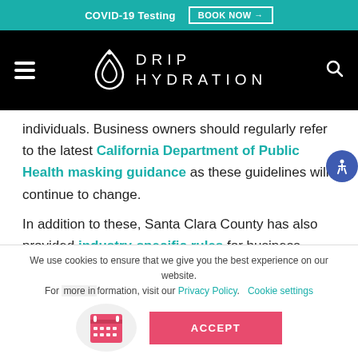COVID-19 Testing  BOOK NOW →
[Figure (logo): Drip Hydration logo with navigation bar on black background]
individuals. Business owners should regularly refer to the latest California Department of Public Health masking guidance as these guidelines will continue to change.
In addition to these, Santa Clara County has also provided industry-specific rules for business reopening in Palo Alto designed to
We use cookies to ensure that we give you the best experience on our website. For more information, visit our Privacy Policy.   Cookie settings  ACCEPT